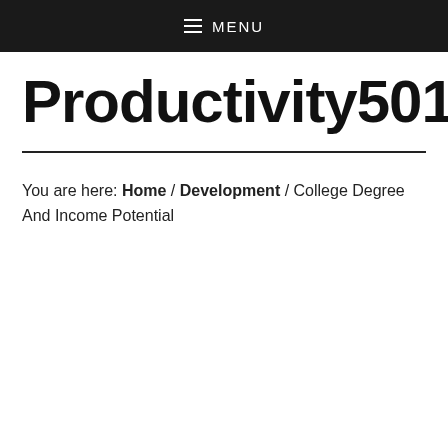≡ MENU
Productivity501
You are here: Home / Development / College Degree And Income Potential